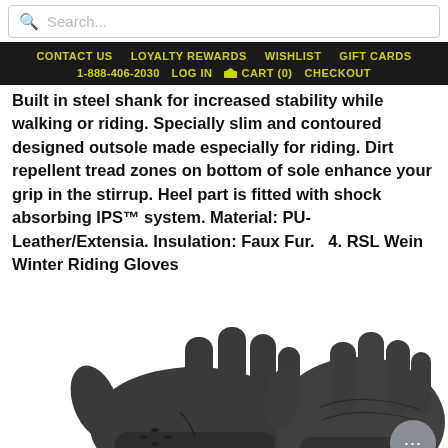Search...
CONTACT US   LOYALTY REWARDS   WISHLIST   GIFT CARDS   1-888-406-2030   LOG IN   CART (0)   CHECKOUT
Built in steel shank for increased stability while walking or riding. Specially slim and contoured designed outsole made especially for riding. Dirt repellent tread zones on bottom of sole enhance your grip in the stirrup. Heel part is fitted with shock absorbing IPS™ system. Material: PU-Leather/Extensia. Insulation: Faux Fur.   4. RSL Wein Winter Riding Gloves
[Figure (photo): Two dark gray/black riding gloves photographed on a white background — left glove showing palm side with textured grip pattern, right glove showing back of hand.]